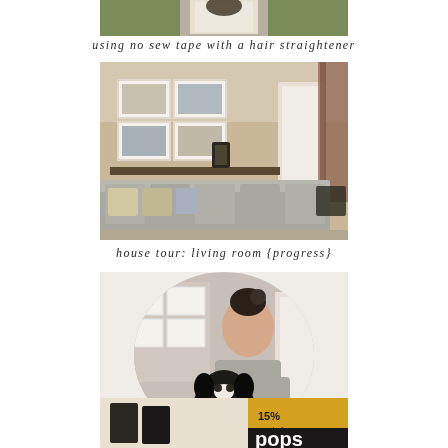[Figure (photo): Partial photo at top, cropped, showing a person in white lace dress outdoors]
using no sew tape with a hair straightener
[Figure (photo): Living room photo showing a large gray sectional sofa, framed gallery wall with photos, lantern decor, and patterned curtains]
house tour: living room {progress}
[Figure (photo): Circular cropped photo of a smiling woman holding a black and white dog, standing in a living room with gallery wall in background]
a heartfelt puppy post
[Figure (photo): Partially visible photo at bottom showing black boots and a yellow/black bag with text 'pops' visible]